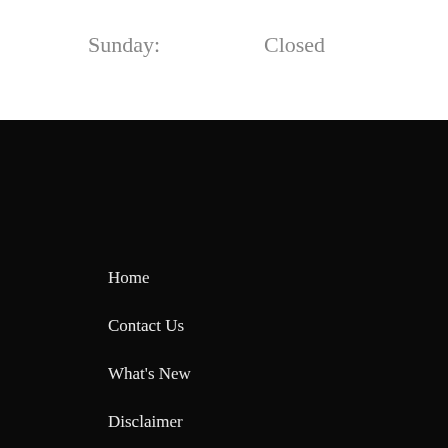Sunday: Closed
Home
Contact Us
What's New
Disclaimer
Privacy Policy
[Figure (infographic): Four blue circular social media icons: Facebook, Instagram, Google, YouTube]
Schedule An Appointment